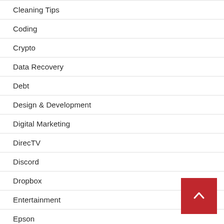Cleaning Tips
Coding
Crypto
Data Recovery
Debt
Design & Development
Digital Marketing
DirecTV
Discord
Dropbox
Entertainment
Epson
Facebook